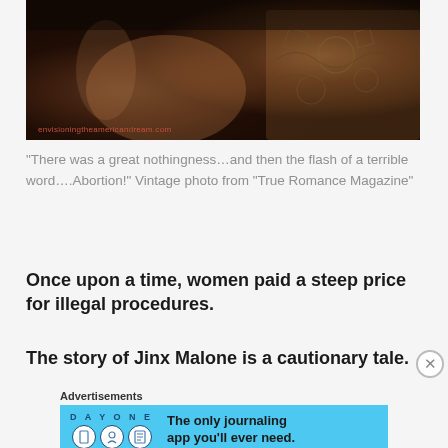[Figure (photo): Dark artistic photo with sepia/warm tones showing a hand and tattoo pattern. Watermark reads 'envisioningtheamericandream.com']
“There was a great nothingness…and then the flash of a terrible word….Abortion!” Vintage photo from “True Romance Magazine”
Once upon a time, women paid a steep price for illegal procedures.
The story of Jinx Malone is a cautionary tale.
Advertisements
DAY ONE — The only journaling app you’ll ever need.